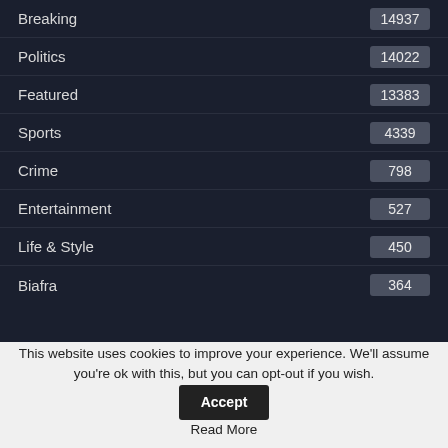Breaking 14937
Politics 14022
Featured 13383
Sports 4339
Crime 798
Entertainment 527
Life & Style 450
Biafra 364
This website uses cookies to improve your experience. We'll assume you're ok with this, but you can opt-out if you wish. Accept Read More